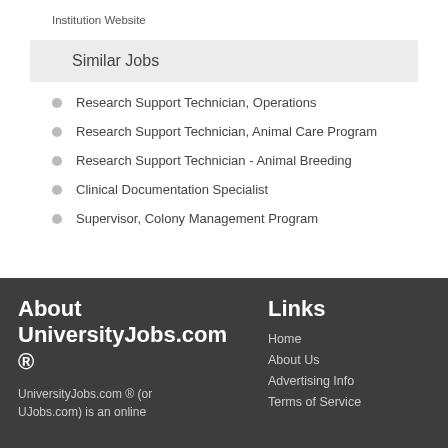Institution Website
Similar Jobs
Research Support Technician, Operations
Research Support Technician, Animal Care Program
Research Support Technician - Animal Breeding
Clinical Documentation Specialist
Supervisor, Colony Management Program
About UniversityJobs.com ®
UniversityJobs.com ® (or UJobs.com) is an online
Links
Home
About Us
Advertising Info
Terms of Service